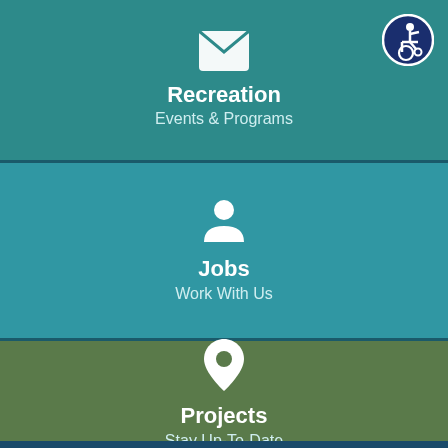[Figure (infographic): Envelope icon (white) centered on teal background]
Recreation
Events & Programs
[Figure (infographic): Person/user icon (white) centered on medium teal background]
Jobs
Work With Us
[Figure (infographic): Location pin icon (white) on olive/green background]
Projects
Stay Up-To-Date
[Figure (logo): Accessibility (wheelchair user) badge icon in top-right corner, white figure on dark blue circle]